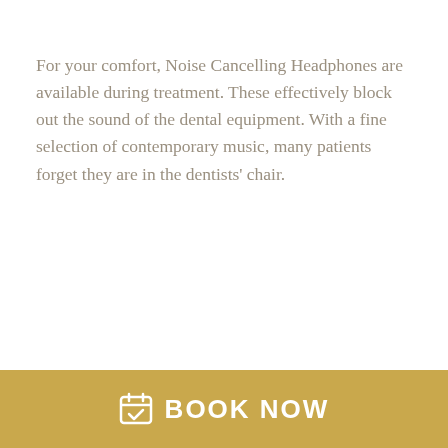For your comfort, Noise Cancelling Headphones are available during treatment. These effectively block out the sound of the dental equipment. With a fine selection of contemporary music, many patients forget they are in the dentists' chair.
BOOK NOW